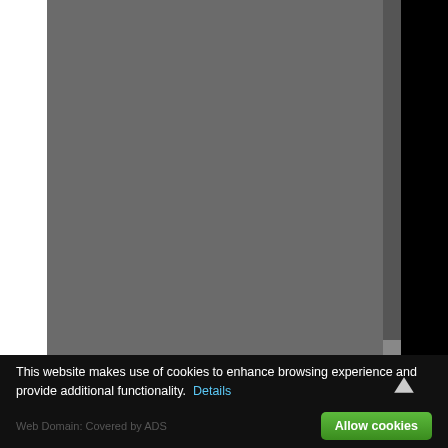[Figure (screenshot): Large grey rectangle occupying most of the page, representing a blurred or redacted webpage content area with a scrollbar on the right side.]
This website makes use of cookies to enhance browsing experience and provide additional functionality.  Details
Web Domain: Covered by ADS  Allow cookies